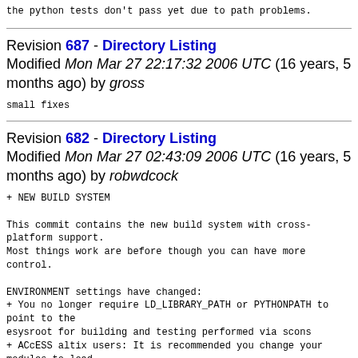the python tests don't pass yet due to path problems.
Revision 687 - Directory Listing
Modified Mon Mar 27 22:17:32 2006 UTC (16 years, 5 months ago) by gross
small fixes
Revision 682 - Directory Listing
Modified Mon Mar 27 02:43:09 2006 UTC (16 years, 5 months ago) by robwdcock
+ NEW BUILD SYSTEM

This commit contains the new build system with cross-platform support.
Most things work are before though you can have more control.

ENVIRONMENT settings have changed:
+ You no longer require LD_LIBRARY_PATH or PYTHONPATH to point to the
esysroot for building and testing performed via scons
+ ACcESS altix users: It is recommended you change your modules to load
the latest intel compiler and other libraries required